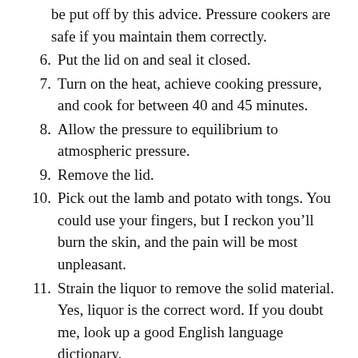(continuation) be put off by this advice. Pressure cookers are safe if you maintain them correctly.
6. Put the lid on and seal it closed.
7. Turn on the heat, achieve cooking pressure, and cook for between 40 and 45 minutes.
8. Allow the pressure to equilibrium to atmospheric pressure.
9. Remove the lid.
10. Pick out the lamb and potato with tongs. You could use your fingers, but I reckon you'll burn the skin, and the pain will be most unpleasant.
11. Strain the liquor to remove the solid material. Yes, liquor is the correct word. If you doubt me, look up a good English language dictionary.